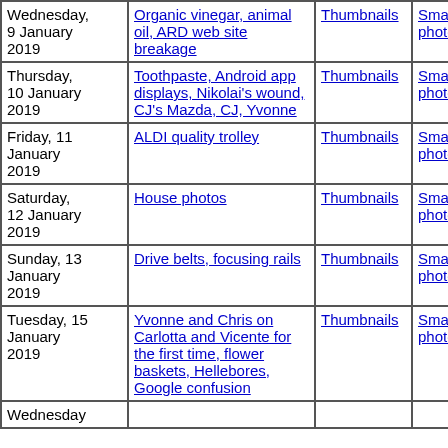| Date | Topic | Thumbnails | Small photos | Diary |
| --- | --- | --- | --- | --- |
| Wednesday, 9 January 2019 | Organic vinegar, animal oil, ARD web site breakage | Thumbnails | Small photos | diary |
| Thursday, 10 January 2019 | Toothpaste, Android app displays, Nikolai's wound, CJ's Mazda, CJ, Yvonne | Thumbnails | Small photos | diary |
| Friday, 11 January 2019 | ALDI quality trolley | Thumbnails | Small photos | diary |
| Saturday, 12 January 2019 | House photos | Thumbnails | Small photos | diary |
| Sunday, 13 January 2019 | Drive belts, focusing rails | Thumbnails | Small photos | diary |
| Tuesday, 15 January 2019 | Yvonne and Chris on Carlotta and Vicente for the first time, flower baskets, Hellebores, Google confusion | Thumbnails | Small photos | diary |
| Wednesday |  |  |  |  |